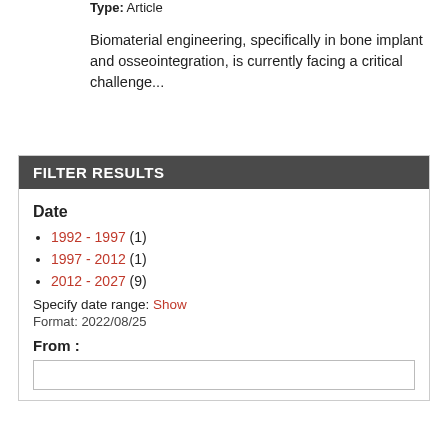Type: Article
Biomaterial engineering, specifically in bone implant and osseointegration, is currently facing a critical challenge...
FILTER RESULTS
Date
1992 - 1997 (1)
1997 - 2012 (1)
2012 - 2027 (9)
Specify date range: Show
Format: 2022/08/25
From :